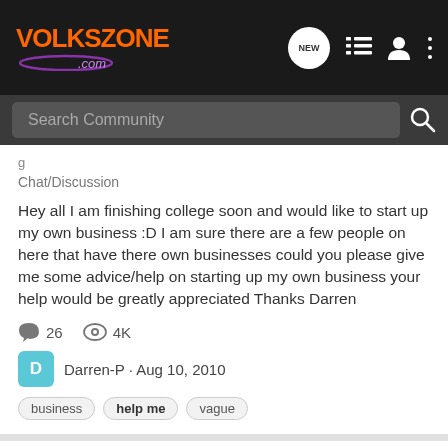VOLKSZONE .com
Chat/Discussion
Hey all I am finishing college soon and would like to start up my own business :D I am sure there are a few people on here that have there own businesses could you please give me some advice/help on starting up my own business your help would be greatly appreciated Thanks Darren
26  4K
Darren-P · Aug 10, 2010
business
help me
vague
The Seahorses
Chat/Discussion